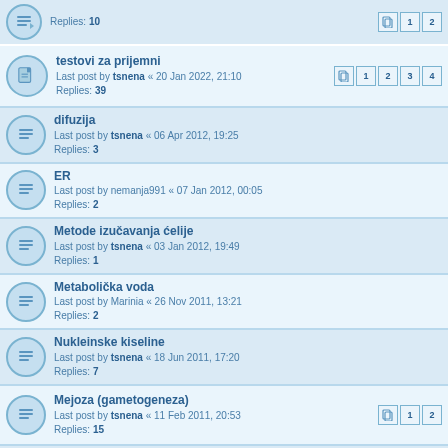Replies: 10
testovi za prijemni
Last post by tsnena « 20 Jan 2022, 21:10
Replies: 39
difuzija
Last post by tsnena « 06 Apr 2012, 19:25
Replies: 3
ER
Last post by nemanja991 « 07 Jan 2012, 00:05
Replies: 2
Metode izučavanja ćelije
Last post by tsnena « 03 Jan 2012, 19:49
Replies: 1
Metabolička voda
Last post by Marinia « 26 Nov 2011, 13:21
Replies: 2
Nukleinske kiseline
Last post by tsnena « 18 Jun 2011, 17:20
Replies: 7
Mejoza (gametogeneza)
Last post by tsnena « 11 Feb 2011, 20:53
Replies: 15
metabolizam
Last post by Hipokrat « 23 Mar 2010, 11:26
Replies: 4